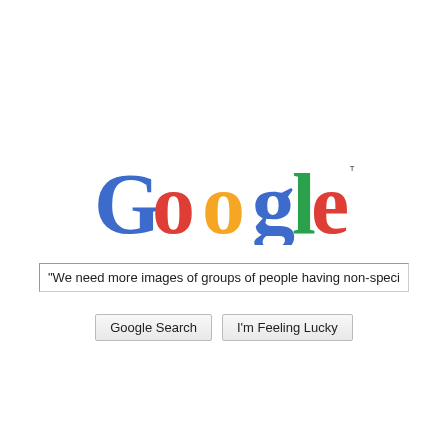[Figure (logo): Google logo in multicolor serif font with trademark symbol]
"We need more images of groups of people having non-specific types of fun"
Google Search    I'm Feeling Lucky